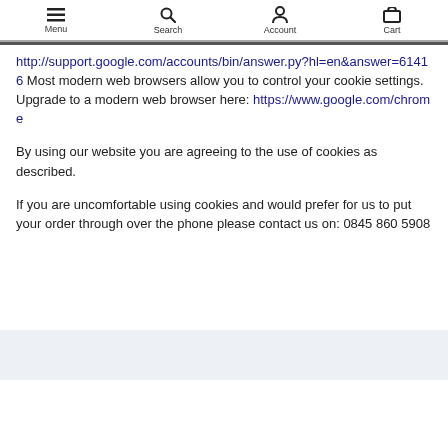Menu  Search  Account  Cart
http://support.google.com/accounts/bin/answer.py?hl=en&answer=61416 Most modern web browsers allow you to control your cookie settings. Upgrade to a modern web browser here: https://www.google.com/chrome
By using our website you are agreeing to the use of cookies as described.
If you are uncomfortable using cookies and would prefer for us to put your order through over the phone please contact us on: 0845 860 5908